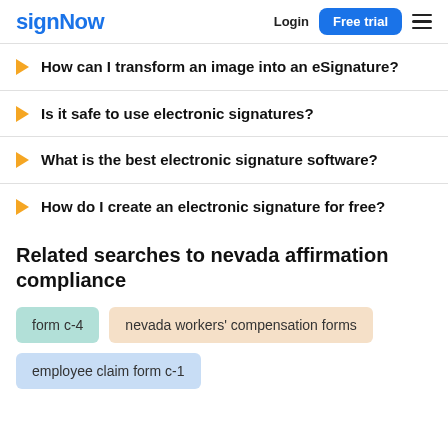signNow | Login | Free trial
How can I transform an image into an eSignature?
Is it safe to use electronic signatures?
What is the best electronic signature software?
How do I create an electronic signature for free?
Related searches to nevada affirmation compliance
form c-4
nevada workers' compensation forms
employee claim form c-1